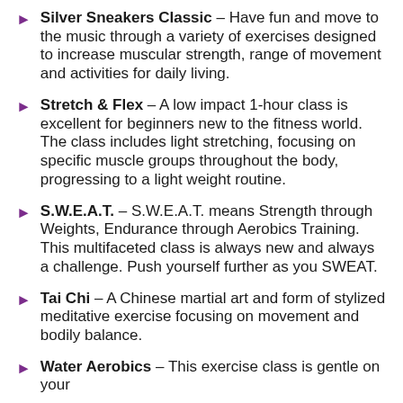Silver Sneakers Classic – Have fun and move to the music through a variety of exercises designed to increase muscular strength, range of movement and activities for daily living.
Stretch & Flex – A low impact 1-hour class is excellent for beginners new to the fitness world. The class includes light stretching, focusing on specific muscle groups throughout the body, progressing to a light weight routine.
S.W.E.A.T. – S.W.E.A.T. means Strength through Weights, Endurance through Aerobics Training. This multifaceted class is always new and always a challenge. Push yourself further as you SWEAT.
Tai Chi – A Chinese martial art and form of stylized meditative exercise focusing on movement and bodily balance.
Water Aerobics – This exercise class is gentle on your